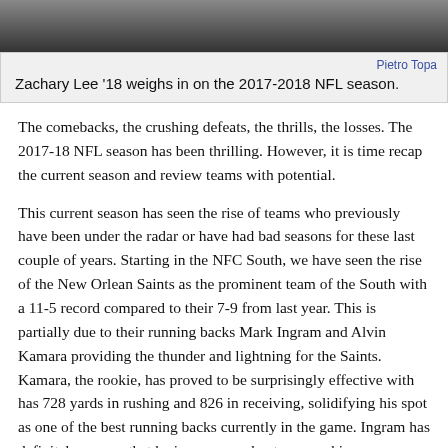[Figure (photo): Top portion of a photo showing a person, cropped — only the lower part of a person wearing a dark shirt is visible against a dark background.]
Pietro Topa
Zachary Lee '18 weighs in on the 2017-2018 NFL season.
The comebacks, the crushing defeats, the thrills, the losses. The 2017-18 NFL season has been thrilling. However, it is time recap the current season and review teams with potential.
This current season has seen the rise of teams who previously have been under the radar or have had bad seasons for these last couple of years. Starting in the NFC South, we have seen the rise of the New Orlean Saints as the prominent team of the South with a 11-5 record compared to their 7-9 from last year. This is partially due to their running backs Mark Ingram and Alvin Kamara providing the thunder and lightning for the Saints. Kamara, the rookie, has proved to be surprisingly effective with has 728 yards in rushing and 826 in receiving, solidifying his spot as one of the best running backs currently in the game. Ingram has definitely proven that he is a seasoned veteran, racking up more than 1,124 rushing yards this season and 416 receiving yards. Drew Brees has shown his